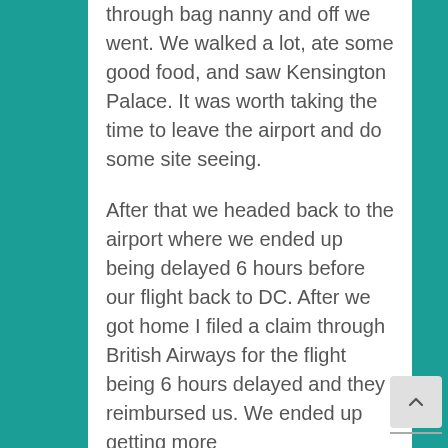through bag nanny and off we went. We walked a lot, ate some good food, and saw Kensington Palace. It was worth taking the time to leave the airport and do some site seeing.
After that we headed back to the airport where we ended up being delayed 6 hours before our flight back to DC. After we got home I filed a claim through British Airways for the flight being 6 hours delayed and they reimbursed us. We ended up getting more